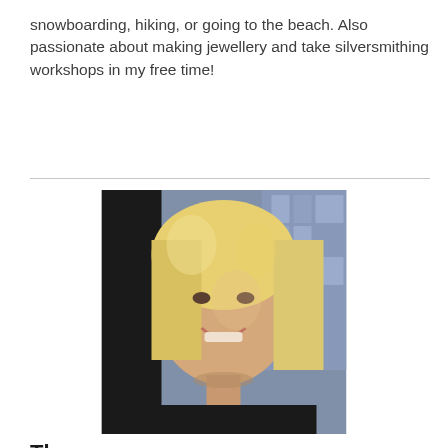snowboarding, hiking, or going to the beach. Also passionate about making jewellery and take silversmithing workshops in my free time!
[Figure (photo): Portrait photo of a smiling blonde woman with shoulder-length hair, wearing a dark top, photographed outdoors]
Theresa